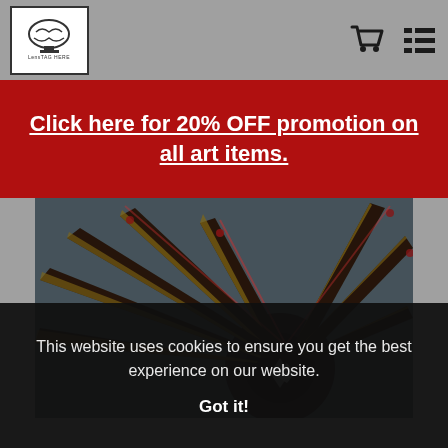[Logo: brain icon with text] [Cart icon] [Menu icon]
Click here for 20% OFF promotion on all art items.
[Figure (photo): Close-up photo of a carnival/amusement ride taken from below, showing radiating metal arms with colorful lights (red, yellow) against a blue sky. The arms fan outward from a central hub.]
This website uses cookies to ensure you get the best experience on our website.
Got it!